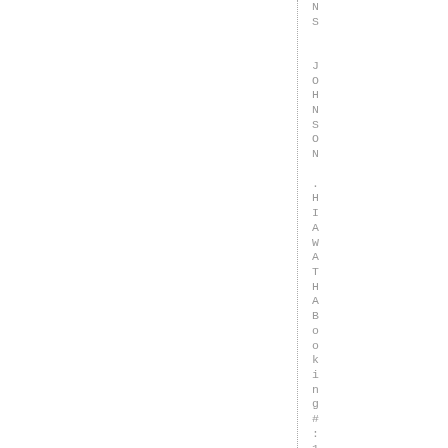NS  JOHNSON .HIAWATHABooking#:160425